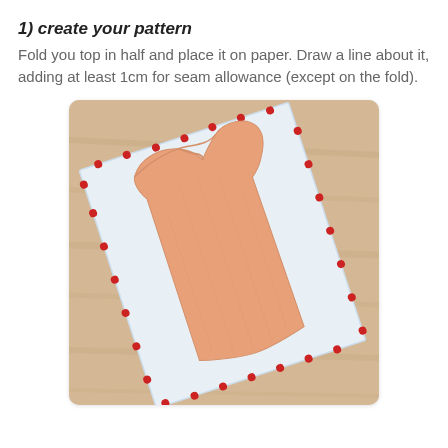1) create your pattern
Fold you top in half and place it on paper. Draw a line about it, adding at least 1cm for seam allowance (except on the fold).
[Figure (photo): A peach/salmon colored tank top laid on a light wood floor, with a white paper pattern piece pinned around it using red-dot pins, showing pattern drafting technique.]